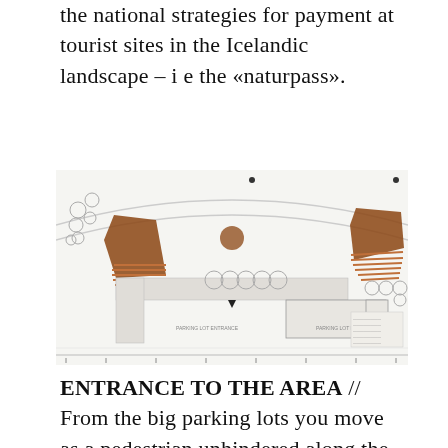the national strategies for payment at tourist sites in the Icelandic landscape – i e the «naturpass».
[Figure (schematic): Architectural site plan / floor plan showing an entrance area with two rust/terracotta-colored wedge forms flanking a central path, parking areas with circles representing trees, a building footprint in the center, roads, and scale indicators.]
ENTRANCE TO THE AREA // From the big parking lots you move as a pedestrian unhindered along the service centre, whether